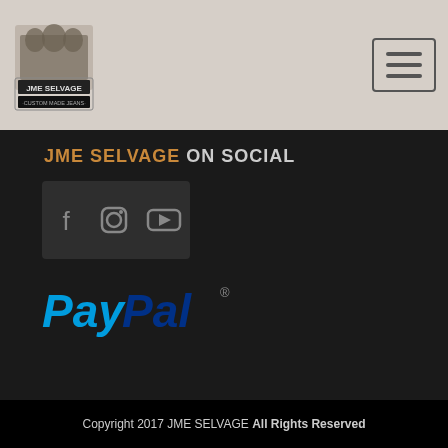[Figure (logo): JME Selvage custom made jeans logo with industrial machinery graphic]
[Figure (other): Hamburger menu button with three horizontal lines]
JME SELVAGE ON SOCIAL
[Figure (infographic): Social media icons: Facebook, Instagram, YouTube in a dark box]
[Figure (logo): PayPal logo in blue italic bold text with registered trademark symbol]
Copyright 2017 JME SELVAGE All Rights Reserved